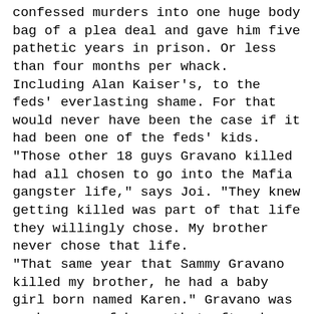confessed murders into one huge body bag of a plea deal and gave him five pathetic years in prison. Or less than four months per whack. Including Alan Kaiser's, to the feds' everlasting shame. For that would never have been the case if it had been one of the feds' kids. "Those other 18 guys Gravano killed had all chosen to go into the Mafia gangster life," says Joi. "They knew getting killed was part of that life they willingly chose. My brother never chose that life. "That same year that Sammy Gravano killed my brother, he had a baby girl born named Karen." Gravano was such a man of honor that after he became a rat and went into witness protection, he enlisted Karen and his son in a drug-pushing operation in Phoenix. He and his son wound up doing time. "Real classless," says Joi. Now 35 years after Alan Kaiser's murder, Karen Gravano splashes in designer heels through her